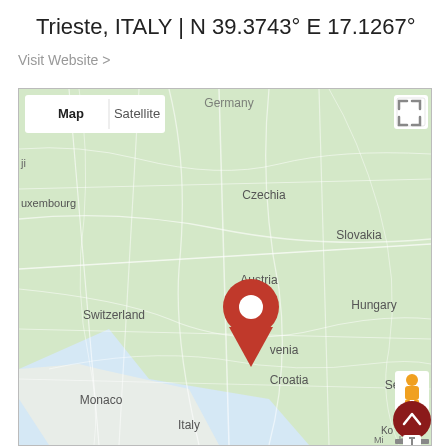Trieste, ITALY | N 39.3743° E 17.1267°
Visit Website >
[Figure (map): Google Maps view centered on Trieste/Slovenia area showing Central Europe including Germany, Czechia, Slovakia, Austria, Hungary, Switzerland, Slovenia, Croatia, Monaco, Italy, Serbia. A red location pin is placed over the Slovenia/Trieste area. Map controls include Map/Satellite toggle, fullscreen button, Street View pegman, and zoom controls.]